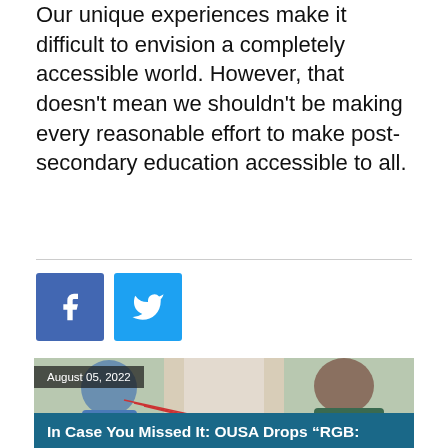Our unique experiences make it difficult to envision a completely accessible world. However, that doesn't mean we shouldn't be making every reasonable effort to make post-secondary education accessible to all.
[Figure (other): Facebook and Twitter social sharing icon buttons]
[Figure (photo): Three young women laughing and playing with string. A date overlay reads 'August 05, 2022' and a title overlay reads 'In Case You Missed It: OUSA Drops "RGB:']
August 05, 2022
In Case You Missed It: OUSA Drops “RGB: